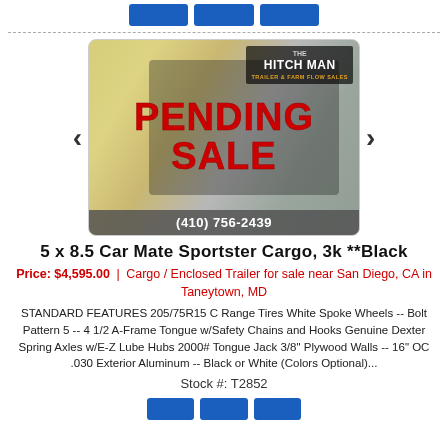[Figure (screenshot): Cargo trailer photo with 'PENDING SALE' overlay in red, The Hitch Man logo in top right, phone number (410) 756-2439 in bottom bar]
5 x 8.5 Car Mate Sportster Cargo, 3k **Black
Price: $4,595.00 | Cargo / Enclosed Trailer for sale near San Diego, CA in Taneytown, MD
STANDARD FEATURES 205/75R15 C Range Tires White Spoke Wheels -- Bolt Pattern 5 -- 4 1/2 A-Frame Tongue w/Safety Chains and Hooks Genuine Dexter Spring Axles w/E-Z Lube Hubs 2000# Tongue Jack 3/8" Plywood Walls -- 16" OC .030 Exterior Aluminum -- Black or White (Colors Optional)...
Stock #: T2852